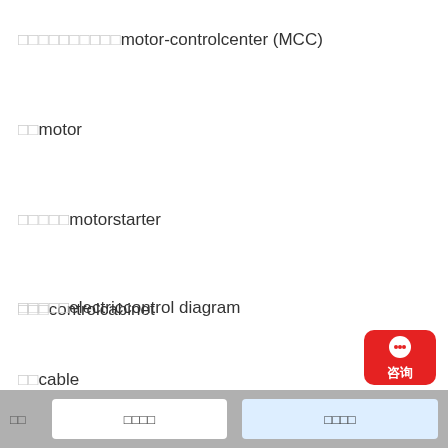□□□□□□□□□□motor-controlcenter (MCC)
□□motor
□□□□□motorstarter
□□□controlcabinet
[Figure (other): Red rounded rectangle button with chat/consultation icon and Chinese text '咨询' (consult)]
□□□□□electriccontrol diagram
□□cable
□□  □□□□  □□□□